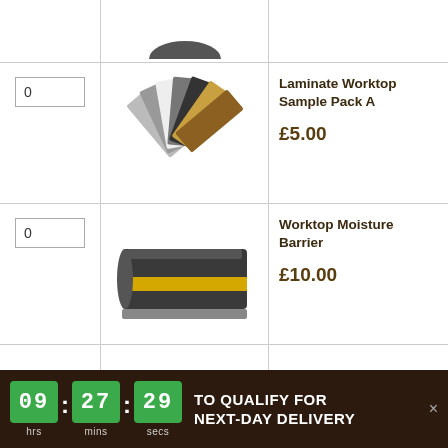[Figure (photo): Partial cropped product image at top of page]
0
[Figure (photo): Laminate Worktop Sample Pack A - fan of laminate sample swatches in various colors]
Laminate Worktop Sample Pack A
£5.00
0
[Figure (photo): Worktop Moisture Barrier - rolled dark material with yellow stripe]
Worktop Moisture Barrier
£10.00
0
[Figure (photo): Unika Worktop Installation Kit - Single Joint, partially visible]
Unika Worktop Installation Kit - Single Joint
09:27:29 hrs mins secs TO QUALIFY FOR NEXT-DAY DELIVERY ×